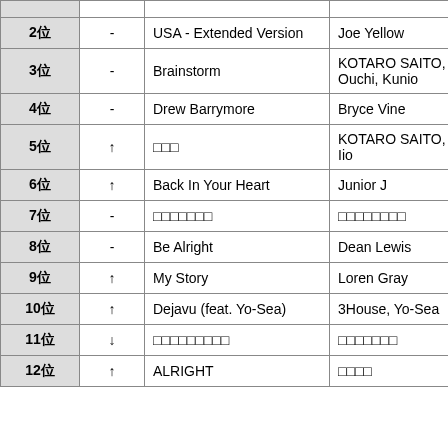| Rank | Change | Title | Artist |
| --- | --- | --- | --- |
| 2位 | - | USA - Extended Version | Joe Yellow |
| 3位 | - | Brainstorm | KOTARO SAITO, Asuka Ouchi, Kunio |
| 4位 | - | Drew Barrymore | Bryce Vine |
| 5位 | ↑ | □□□ | KOTARO SAITO, Hisaka Iio |
| 6位 | ↑ | Back In Your Heart | Junior J |
| 7位 | - | □□□□□□□ | □□□□□□□□ |
| 8位 | - | Be Alright | Dean Lewis |
| 9位 | ↑ | My Story | Loren Gray |
| 10位 | ↑ | Dejavu (feat. Yo-Sea) | 3House, Yo-Sea |
| 11位 | ↓ | □□□□□□□□□ | □□□□□□□ |
| 12位 | ↑ | ALRIGHT | □□□□ |